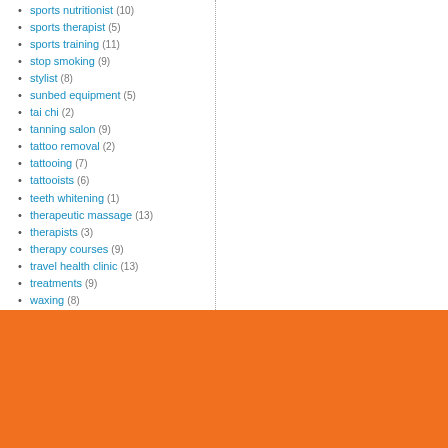sports nutritionist (10)
sports therapist (5)
sports training (11)
stop smoking (9)
stylist (8)
sunbed equipment (5)
tai chi (2)
tanning salon (9)
tattoo removal (2)
tattooing (7)
tattooists (6)
teeth whitening (1)
therapeutic massage (13)
therapists (3)
therapy courses (9)
travel health clinic (13)
treatments (9)
waxing (8)
weight control (8)
weight loss (4)
wellbeing (8)
wellness (5)
wig maker (1)
womens health (9)
yoga (7)
Darlington (7)
Durham (2)